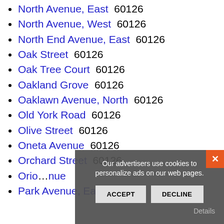North Avenue, East  60126
North Avenue, West  60126
North End Avenue, East  60126
Oak Street  60126
Oak Tree Court  60126
Oakland Grove  60126
Oaklawn Avenue, North  60126
Old York Road  60126
Olive Street  60126
Oneta Avenue  60126
Orchard Street  60126
Orion Avenue
Park Avenue, East  60126
Our advertisers use cookies to personalize ads on our web pages.